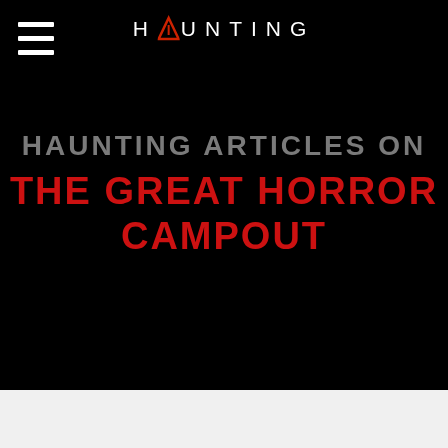[Figure (logo): HAUNTING website logo with red chevron/caret replacing the letter A, white sans-serif uppercase text on black background]
HAUNTING ARTICLES ON THE GREAT HORROR CAMPOUT